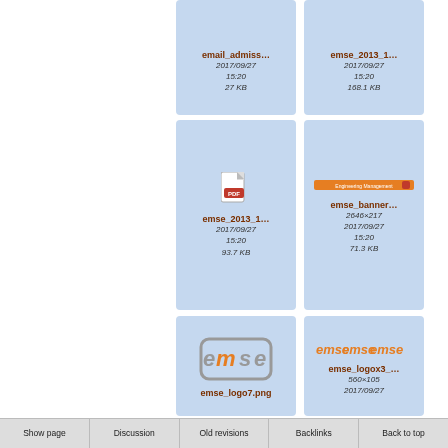[Figure (screenshot): File card: email_admiss... — 2017/09/27 15:20, 27 KB]
[Figure (screenshot): File card: emse_2013_1... — 2017/09/27 15:20, 168.1 KB]
[Figure (screenshot): File card: emse_2013_1... — PDF icon — 2017/09/27 15:20, 93.7 KB]
[Figure (screenshot): File card: emse_banner... — orange banner image — 2646×217 — 2017/09/27 15:20, 71.3 KB]
[Figure (screenshot): File card: emse_logo7.png — EMSE logo orange/grey — no size shown]
[Figure (screenshot): File card: emse_logox3_... — orange repeated EMSE logos — 560×105 — 2017/09/27]
Show page | Discussion | Old revisions | Backlinks | Back to top